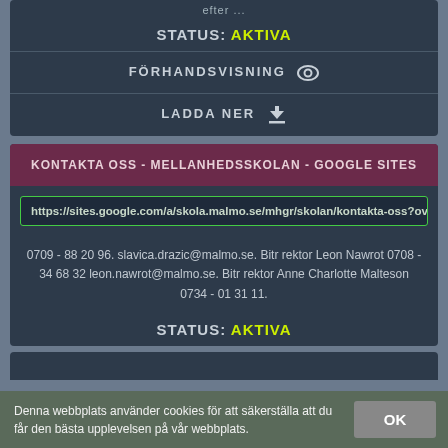efter ...
STATUS: AKTIVA
FÖRHANDSVISNING
LADDA NER
KONTAKTA OSS - MELLANHEDSSKOLAN - GOOGLE SITES
https://sites.google.com/a/skola.malmo.se/mhgr/skolan/kontakta-oss?ov
0709 - 88 20 96. slavica.drazic@malmo.se. Bitr rektor Leon Nawrot 0708 - 34 68 32 leon.nawrot@malmo.se. Bitr rektor Anne Charlotte Malteson 0734 - 01 31 11.
STATUS: AKTIVA
Denna webbplats använder cookies för att säkerställa att du får den bästa upplevelsen på vår webbplats.